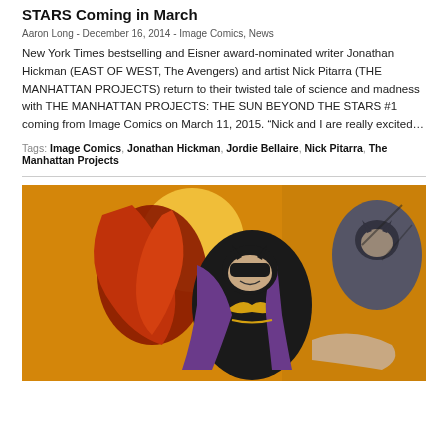STARS Coming in March
Aaron Long - December 16, 2014 - Image Comics, News
New York Times bestselling and Eisner award-nominated writer Jonathan Hickman (EAST OF WEST, The Avengers) and artist Nick Pitarra (THE MANHATTAN PROJECTS) return to their twisted tale of science and madness with THE MANHATTAN PROJECTS: THE SUN BEYOND THE STARS #1 coming from Image Comics on March 11, 2015. “Nick and I are really excited…
Tags: Image Comics, Jonathan Hickman, Jordie Bellaire, Nick Pitarra, The Manhattan Projects
[Figure (illustration): Comic book cover art showing Batgirl in black and yellow costume with red hair flying through the air, alongside a dark-costumed figure, against a golden/orange background]